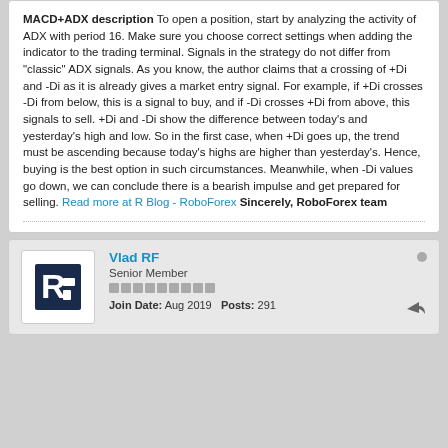MACD+ADX description To open a position, start by analyzing the activity of ADX with period 16. Make sure you choose correct settings when adding the indicator to the trading terminal. Signals in the strategy do not differ from "classic" ADX signals. As you know, the author claims that a crossing of +Di and -Di as it is already gives a market entry signal. For example, if +Di crosses -Di from below, this is a signal to buy, and if -Di crosses +Di from above, this signals to sell. +Di and -Di show the difference between today's and yesterday's high and low. So in the first case, when +Di goes up, the trend must be ascending because today's highs are higher than yesterday's. Hence, buying is the best option in such circumstances. Meanwhile, when -Di values go down, we can conclude there is a bearish impulse and get prepared for selling. Read more at R Blog - RoboForex Sincerely, RoboForex team
Vlad RF
Senior Member
Join Date: Aug 2019  Posts: 291